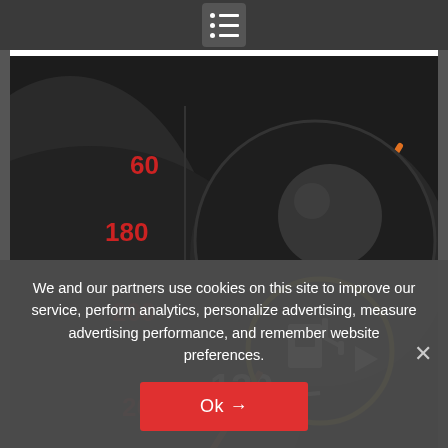Navigation menu bar with hamburger icon
[Figure (photo): Car dashboard showing speedometer with markings 60, 110, 120, 130, 180, 200, 20 and a fuel gauge indicator with a yellow circle highlighting the fuel pump symbol with arrow pointing right]
't Ignore This Symbol In Your Car, Her
com | Sponsored
We and our partners use cookies on this site to improve our service, perform analytics, personalize advertising, measure advertising performance, and remember website preferences.
Ok →